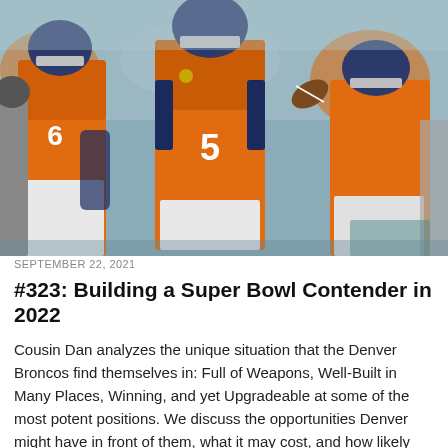[Figure (photo): Denver Broncos football players in orange jerseys during a game. Player #5 is in the center preparing to throw a pass, surrounded by teammates including player #6, with opposing players and blurred crowd in the background.]
SEPTEMBER 22, 2021
#323: Building a Super Bowl Contender in 2022
Cousin Dan analyzes the unique situation that the Denver Broncos find themselves in: Full of Weapons, Well-Built in Many Places, Winning, and yet Upgradeable at some of the most potent positions. We discuss the opportunities Denver might have in front of them, what it may cost, and how likely certain outcomes are.